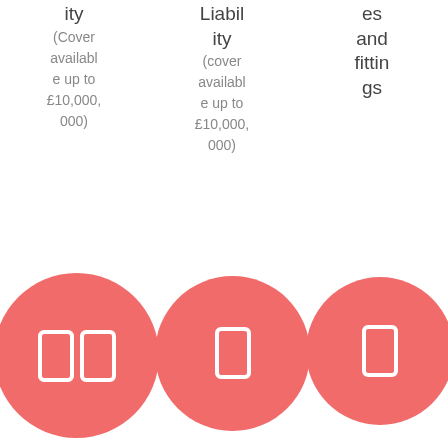ity
(Cover available up to £10,000,000)
Liability
(cover available up to £10,000,000)
es and fittings
[Figure (infographic): Three red/coral circles with white digital-display style digit placeholders: first circle has a double-digit display (88), second and third circles each have a single digit display]